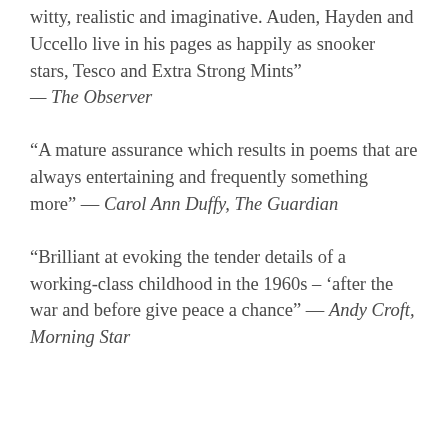witty, realistic and imaginative. Auden, Hayden and Uccello live in his pages as happily as snooker stars, Tesco and Extra Strong Mints" — The Observer
"A mature assurance which results in poems that are always entertaining and frequently something more" — Carol Ann Duffy, The Guardian
"Brilliant at evoking the tender details of a working-class childhood in the 1960s – 'after the war and before give peace a chance" — Andy Croft, Morning Star